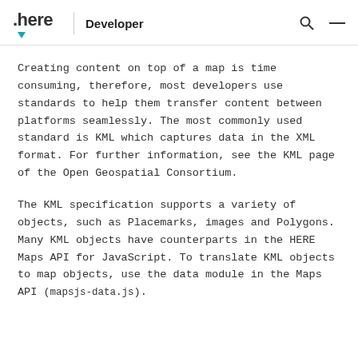here Developer
Creating content on top of a map is time consuming, therefore, most developers use standards to help them transfer content between platforms seamlessly. The most commonly used standard is KML which captures data in the XML format. For further information, see the KML page of the Open Geospatial Consortium.
The KML specification supports a variety of objects, such as Placemarks, images and Polygons. Many KML objects have counterparts in the HERE Maps API for JavaScript. To translate KML objects to map objects, use the data module in the Maps API (mapsjs-data.js).